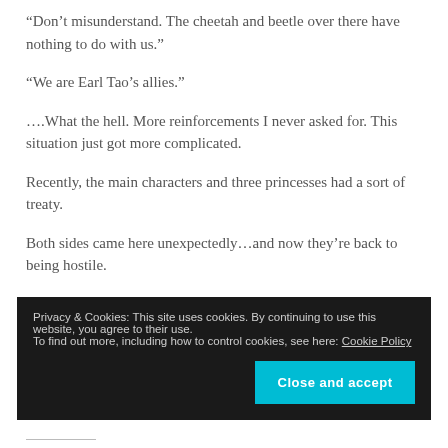“Don’t misunderstand. The cheetah and beetle over there have nothing to do with us.”
“We are Earl Tao’s allies.”
….What the hell. More reinforcements I never asked for. This situation just got more complicated.
Recently, the main characters and three princesses had a sort of treaty.
Both sides came here unexpectedly…and now they’re back to being hostile.
Privacy & Cookies: This site uses cookies. By continuing to use this website, you agree to their use.
To find out more, including how to control cookies, see here: Cookie Policy